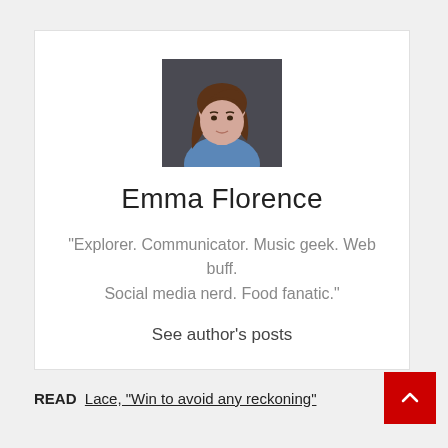[Figure (photo): Portrait photo of Emma Florence, a woman with long brown hair wearing a blue top, against a dark grey background]
Emma Florence
“Explorer. Communicator. Music geek. Web buff. Social media nerd. Food fanatic.”
See author’s posts
READ  Lace, “Win to avoid any reckoning”